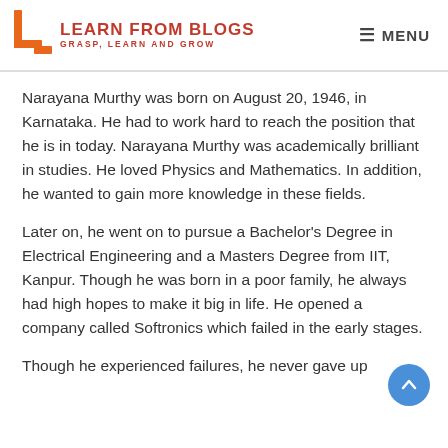LEARN FROM BLOGS — GRASP, LEARN AND GROW | MENU
Narayana Murthy was born on August 20, 1946, in Karnataka. He had to work hard to reach the position that he is in today. Narayana Murthy was academically brilliant in studies. He loved Physics and Mathematics. In addition, he wanted to gain more knowledge in these fields.
Later on, he went on to pursue a Bachelor's Degree in Electrical Engineering and a Masters Degree from IIT, Kanpur. Though he was born in a poor family, he always had high hopes to make it big in life. He opened a company called Softronics which failed in the early stages.
Though he experienced failures, he never gave up